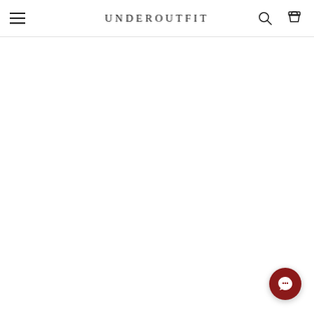UNDEROUTFIT
[Figure (screenshot): Chat support button - dark red circular button with speech bubble icon in bottom right corner]